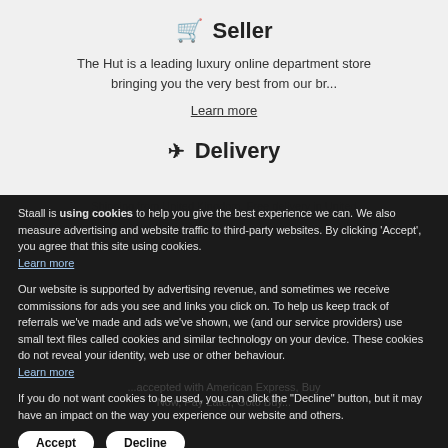Seller
The Hut is a leading luxury online department store bringing you the very best from our br...
Learn more
Delivery
Staall is using cookies to help you give the best experience we can. We also measure advertising and website traffic to third-party websites. By clicking 'Accept', you agree that this site using cookies. Learn more
Our website is supported by advertising revenue, and sometimes we receive commissions for ads you see and links you click on. To help us keep track of referrals we've made and ads we've shown, we (and our service providers) use small text files called cookies and similar technology on your device. These cookies do not reveal your identity, web use or other behaviour. Learn more
If you do not want cookies to be used, you can click the "Decline" button, but it may have an impact on the way you experience our website and others.
Accept   Decline